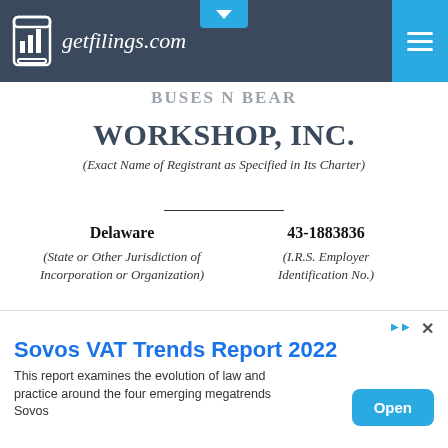getfilings.com
WORKSHOP, INC.
(Exact Name of Registrant as Specified in Its Charter)
Delaware
(State or Other Jurisdiction of Incorporation or Organization)
43-1883836
(I.R.S. Employer Identification No.)
1954 Innerbelt Business Center Drive
Sovos VAT Trends Report 2022
This report examines the evolution of law and practice around the four emerging megatrends Sovos